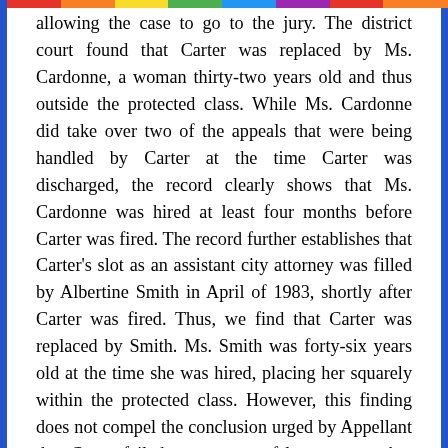allowing the case to go to the jury. The district court found that Carter was replaced by Ms. Cardonne, a woman thirty-two years old and thus outside the protected class. While Ms. Cardonne did take over two of the appeals that were being handled by Carter at the time Carter was discharged, the record clearly shows that Ms. Cardonne was hired at least four months before Carter was fired. The record further establishes that Carter's slot as an assistant city attorney was filled by Albertine Smith in April of 1983, shortly after Carter was fired. Thus, we find that Carter was replaced by Smith. Ms. Smith was forty-six years old at the time she was hired, placing her squarely within the protected class. However, this finding does not compel the conclusion urged by Appellant that Carter failed as a matter of law to prove her prima facie case.
Appellant's position fails to take into account this Court's repeated eschewal of an overly strict